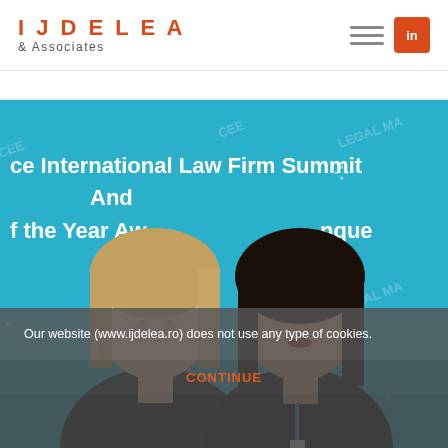IJDELEA & Associates
[Figure (photo): Two women posing in front of a blue CEE Legal Matters International Law Firm Summit And Law Firm of the Year Awards Banque backdrop. One woman has light brown hair and a black top; the other has dark hair and a black coat with a conference lanyard.]
Our website (www.ijdelea.ro) does not use any type of cookies.
CONTINUE